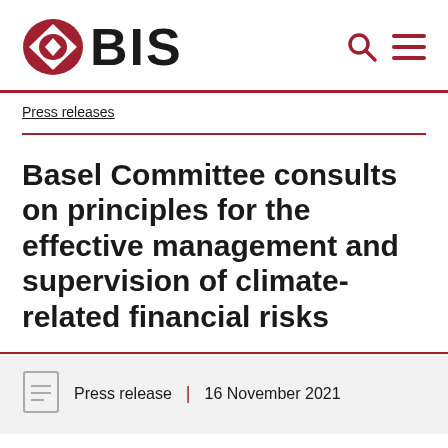[Figure (logo): BIS logo with red diamond/oval graphic and BIS text in black]
Basel Committee consults on principles for the effective management and supervision of climate-related financial risks
Press release  |  16 November 2021